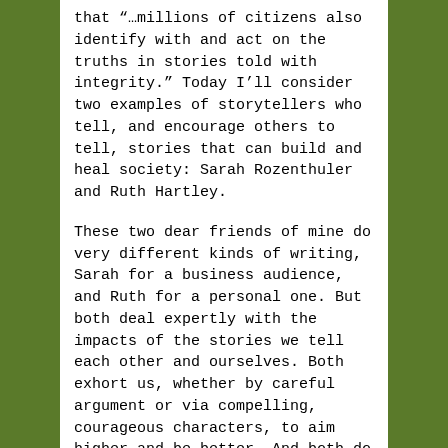that “…millions of citizens also identify with and act on the truths in stories told with integrity.” Today I’ll consider two examples of storytellers who tell, and encourage others to tell, stories that can build and heal society: Sarah Rozenthuler and Ruth Hartley.
These two dear friends of mine do very different kinds of writing, Sarah for a business audience, and Ruth for a personal one. But both deal expertly with the impacts of the stories we tell each other and ourselves. Both exhort us, whether by careful argument or via compelling, courageous characters, to aim higher and be better. And both do this well because each lives their Purpose. Their motivation inspires me; it's what I want to do if I can find a way.
Read the rest of this entry »